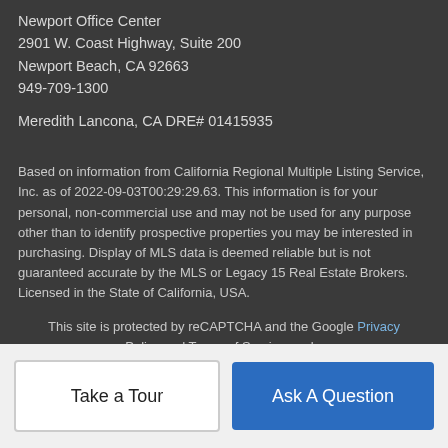Newport Office Center
2901 W. Coast Highway, Suite 200
Newport Beach, CA 92663
949-709-1300
Meredith Lancona, CA DRE# 01415935
Based on information from California Regional Multiple Listing Service, Inc. as of 2022-09-03T00:29:29.63. This information is for your personal, non-commercial use and may not be used for any purpose other than to identify prospective properties you may be interested in purchasing. Display of MLS data is deemed reliable but is not guaranteed accurate by the MLS or Legacy 15 Real Estate Brokers. Licensed in the State of California, USA.
This site is protected by reCAPTCHA and the Google Privacy Policy and Terms of Service apply.
Take a Tour
Ask A Question